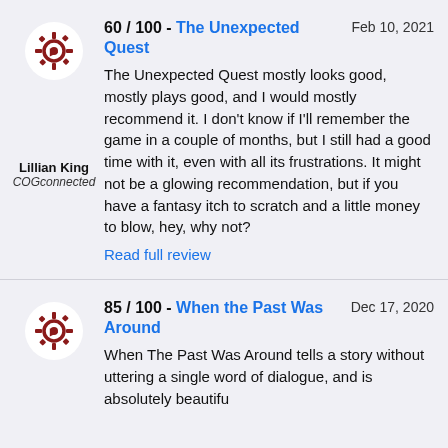[Figure (logo): COGconnected gear logo in dark red/maroon, circular white background]
60 / 100 - The Unexpected Quest   Feb 10, 2021
The Unexpected Quest mostly looks good, mostly plays good, and I would mostly recommend it. I don't know if I'll remember the game in a couple of months, but I still had a good time with it, even with all its frustrations. It might not be a glowing recommendation, but if you have a fantasy itch to scratch and a little money to blow, hey, why not?
Read full review
Lillian King
COGconnected
[Figure (logo): COGconnected gear logo in dark red/maroon, circular white background]
85 / 100 - When the Past Was Around   Dec 17, 2020
When The Past Was Around tells a story without uttering a single word of dialogue, and is absolutely beautiful...